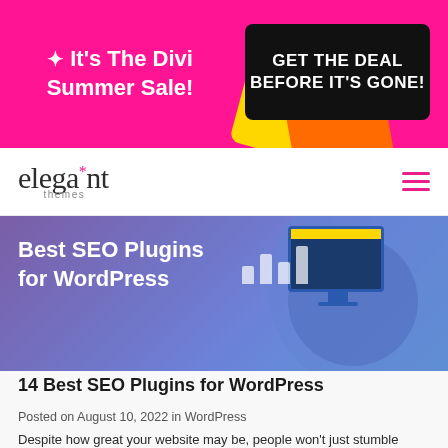[Figure (infographic): Promotional banner with pink background, 'It's The Divi Summer Sale!' text on left, and black button 'GET THE DEAL BEFORE IT'S GONE!' on right]
[Figure (logo): Elegant Themes logo with star asterisk in pink]
[Figure (illustration): Hero image with purple/blue gradient background showing 'Best SEO Plugins for WordPress' title and monitor illustration with vertical bars]
14 Best SEO Plugins for WordPress
Posted on August 10, 2022 in WordPress
Despite how great your website may be, people won't just stumble upon it accidentally (for the most part). You actually have to drive traffic to your site. In addition to paying for advertising, there's also organic (i.e. non-ad)